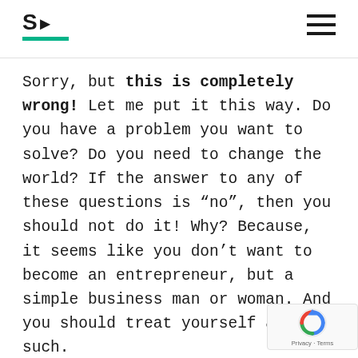S▶ [logo with teal underline] [hamburger menu]
Sorry, but this is completely wrong! Let me put it this way. Do you have a problem you want to solve? Do you need to change the world? If the answer to any of these questions is “no”, then you should not do it! Why? Because, it seems like you don’t want to become an entrepreneur, but a simple business man or woman. And you should treat yourself as such.